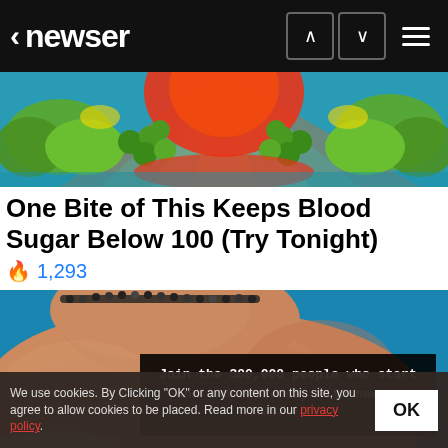< newser
[Figure (photo): Colorful tropical fruits including bananas, grapes, and orange/red flower-like produce on a blue background]
One Bite of This Keeps Blood Sugar Below 100 (Try Tonight)
🔥 1,293
[Figure (photo): Close-up photo of a person's midsection/back showing skin, with a beaded necklace visible at the top, against a blue background]
Join the 300,000 people who start and end their day with newser newsletters
We use cookies. By Clicking "OK" or any content on this site, you agree to allow cookies to be placed. Read more in our privacy policy.